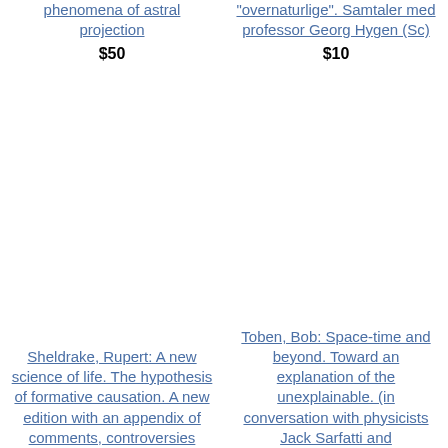phenomena of astral projection
$50
"overnaturlige". Samtaler med professor Georg Hygen (Sc)
$10
Sheldrake, Rupert: A new science of life. The hypothesis of formative causation. A new edition with an appendix of comments, controversies
Toben, Bob: Space-time and beyond. Toward an explanation of the unexplainable. (in conversation with physicists Jack Sarfatti and